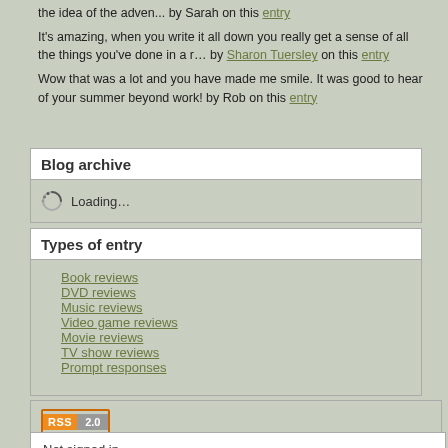It's amazing, when you write it all down you really get a sense of all the things you've done in a r… by Sharon Tuersley on this entry
Wow that was a lot and you have made me smile. It was good to hear of your summer beyond work! by Rob on this entry
Blog archive
Loading…
Types of entry
Book reviews
DVD reviews
Music reviews
Video game reviews
Movie reviews
TV show reviews
Prompt responses
[Figure (other): RSS 2.0 feed badge]
Not signed in
Sign in

Powered by BlogBuilder
© MMXXII